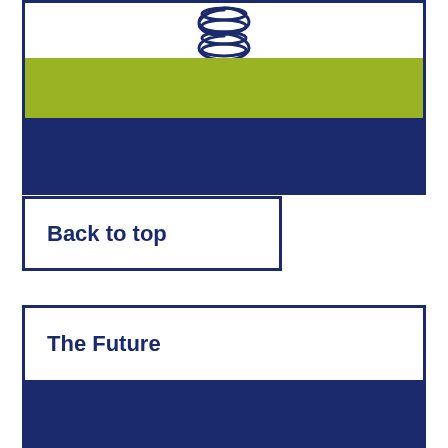[Figure (illustration): Top panel with white section containing a spring/coil graphic at center-top, a lime-green horizontal band below it, and a dark navy blue section at the bottom.]
Back to top
The Future